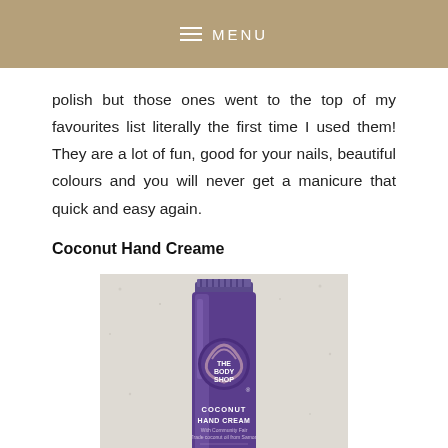≡ MENU
polish but those ones went to the top of my favourites list literally the first time I used them! They are a lot of fun, good for your nails, beautiful colours and you will never get a manicure that quick and easy again.
Coconut Hand Creame
[Figure (photo): A purple tube of The Body Shop Coconut Hand Cream (Noix de Coco / Crème pour les mains) photographed on a light speckled surface.]